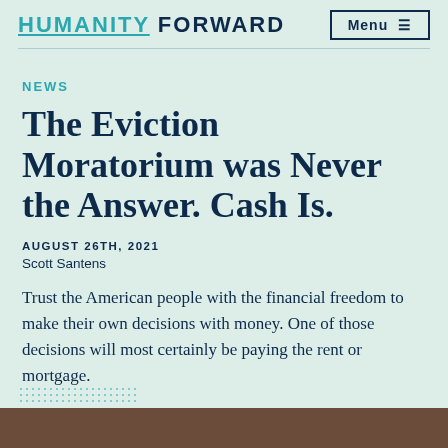HUMANITY FORWARD | Menu
NEWS
The Eviction Moratorium was Never the Answer. Cash Is.
AUGUST 26TH, 2021
Scott Santens
Trust the American people with the financial freedom to make their own decisions with money. One of those decisions will most certainly be paying the rent or mortgage.